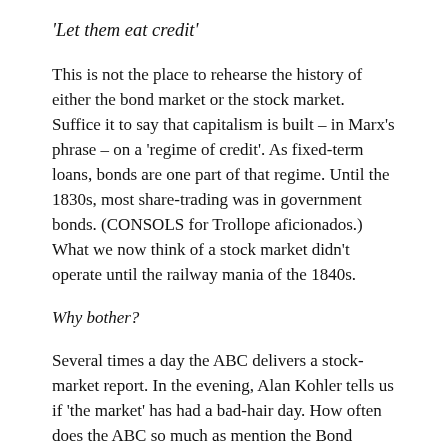‘Let them eat credit’
This is not the place to rehearse the history of either the bond market or the stock market. Suffice it to say that capitalism is built – in Marx’s phrase – on a ‘regime of credit’. As fixed-term loans, bonds are one part of that regime. Until the 1830s, most share-trading was in government bonds. (CONSOLS for Trollope aficionados.) What we now think of a stock market didn’t operate until the railway mania of the 1840s.
Why bother?
Several times a day the ABC delivers a stock-market report. In the evening, Alan Kohler tells us if ‘the market’ has had a bad-hair day. How often does the ABC so much as mention the Bond Market? Yet it’s